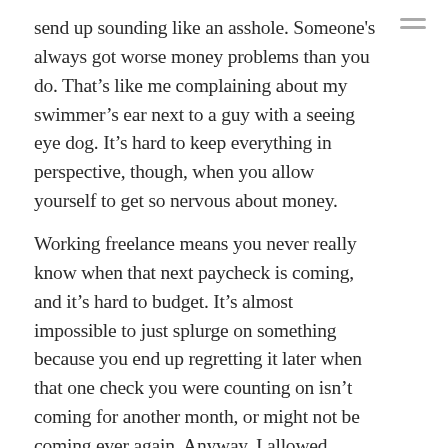send up sounding like an asshole. Someone's always got worse money problems than you do. That's like me complaining about my swimmer's ear next to a guy with a seeing eye dog. It's hard to keep everything in perspective, though, when you allow yourself to get so nervous about money.
Working freelance means you never really know when that next paycheck is coming, and it's hard to budget. It's almost impossible to just splurge on something because you end up regretting it later when that one check you were counting on isn't coming for another month, or might not be coming ever again. Anyway, I allowed myself to wallow in my brokeness today, and I'm just the worst person to be around.